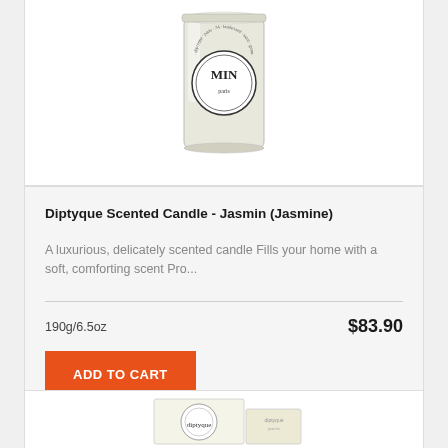[Figure (photo): Diptyque jasmin scented candle in glass jar with circular label showing MIN and paris text, partially cropped at top]
Diptyque Scented Candle - Jasmin (Jasmine)
A luxurious, delicately scented candle Fills your home with a soft, comforting scent Pro...
190g/6.5oz
$83.90
ADD TO CART
[Figure (photo): Bottom portion of another Diptyque product box visible at the very bottom of the page, partially cropped]